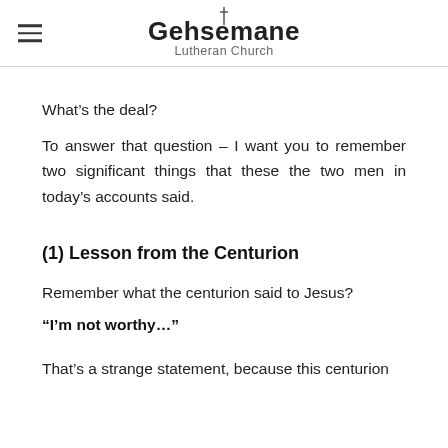Gethsemane Lutheran Church
What's the deal?
To answer that question – I want you to remember two significant things that these the two men in today's accounts said.
(1) Lesson from the Centurion
Remember what the centurion said to Jesus?
“I’m not worthy…”
That’s a strange statement, because this centurion